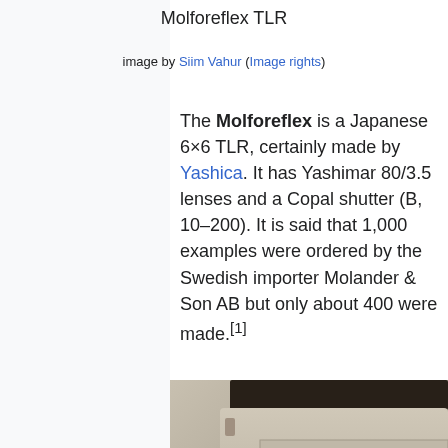Molforeflex TLR
image by Siim Vahur (Image rights)
The Molforeflex is a Japanese 6×6 TLR, certainly made by Yashica. It has Yashimar 80/3.5 lenses and a Copal shutter (B, 10–200). It is said that 1,000 examples were ordered by the Swedish importer Molander & Son AB but only about 400 were made.[1]
[Figure (photo): Photograph of the Molforeflex TLR camera, showing the top and front of the camera body with lens elements, knobs and metallic details against a grey background.]